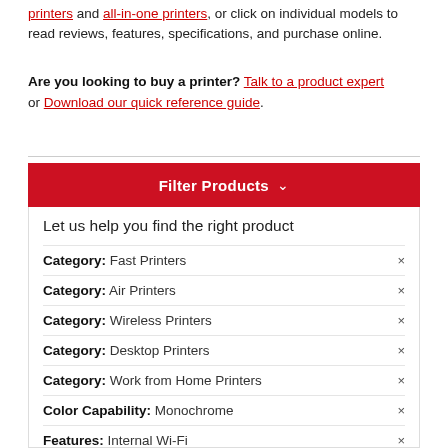printers and all-in-one printers, or click on individual models to read reviews, features, specifications, and purchase online.
Are you looking to buy a printer? Talk to a product expert or Download our quick reference guide.
Filter Products
Let us help you find the right product
Category: Fast Printers
Category: Air Printers
Category: Wireless Printers
Category: Desktop Printers
Category: Work from Home Printers
Color Capability: Monochrome
Features: Internal Wi-Fi